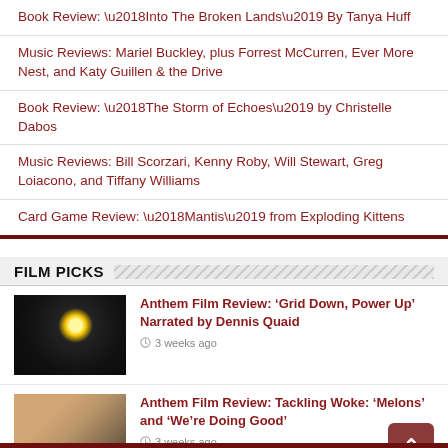Book Review: ‘Into The Broken Lands’ By Tanya Huff
Music Reviews: Mariel Buckley, plus Forrest McCurren, Ever More Nest, and Katy Guillen & the Drive
Book Review: ‘The Storm of Echoes’ by Christelle Dabos
Music Reviews: Bill Scorzari, Kenny Roby, Will Stewart, Greg Loiacono, and Tiffany Williams
Card Game Review: ‘Mantis’ from Exploding Kittens
FILM PICKS
Anthem Film Review: ‘Grid Down, Power Up’ Narrated by Dennis Quaid
3 weeks ago
Anthem Film Review: Tackling Woke: ‘Melons’ and ‘We’re Doing Good’
3 weeks ago